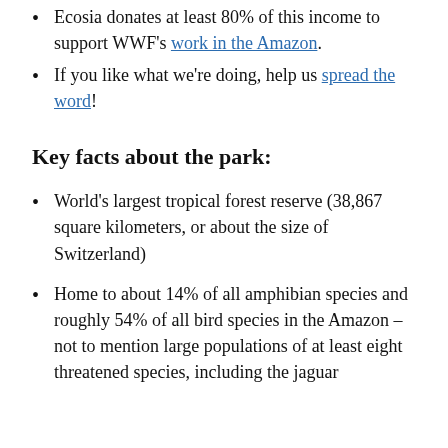Ecosia donates at least 80% of this income to support WWF's work in the Amazon.
If you like what we're doing, help us spread the word!
Key facts about the park:
World's largest tropical forest reserve (38,867 square kilometers, or about the size of Switzerland)
Home to about 14% of all amphibian species and roughly 54% of all bird species in the Amazon – not to mention large populations of at least eight threatened species, including the jaguar